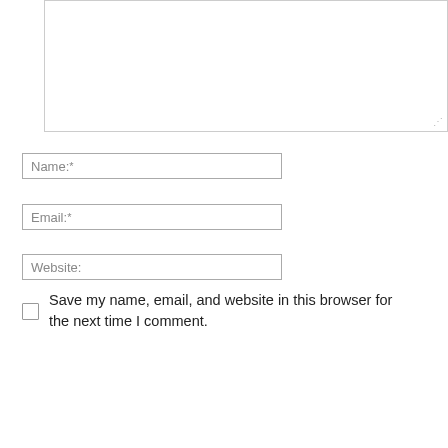[Figure (screenshot): A textarea (comment input box) with a resize handle at the bottom right corner]
Name:*
Email:*
Website:
Save my name, email, and website in this browser for the next time I comment.